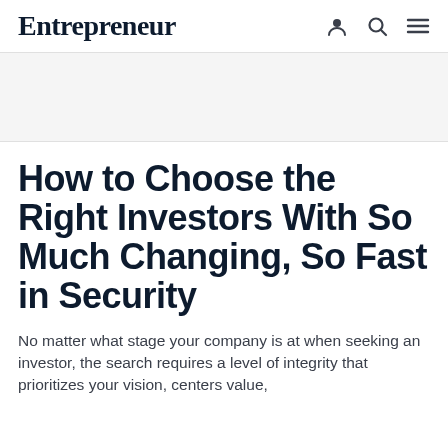Entrepreneur
How to Choose the Right Investors With So Much Changing, So Fast in Security
No matter what stage your company is at when seeking an investor, the search requires a level of integrity that prioritizes your vision, centers value,